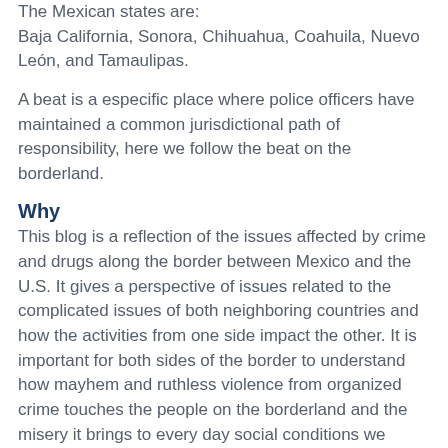The Mexican states are: Baja California, Sonora, Chihuahua, Coahuila, Nuevo León, and Tamaulipas.
A beat is a especific place where police officers have maintained a common jurisdictional path of responsibility, here we follow the beat on the borderland.
Why
This blog is a reflection of the issues affected by crime and drugs along the border between Mexico and the U.S. It gives a perspective of issues related to the complicated issues of both neighboring countries and how the activities from one side impact the other. It is important for both sides of the border to understand how mayhem and ruthless violence from organized crime touches the people on the borderland and the misery it brings to every day social conditions we sometimes call civilization. Consider this a huge source of information related to crime on the borderland. Knowledge is power.
Who
The total population of the borderlands — defined on these